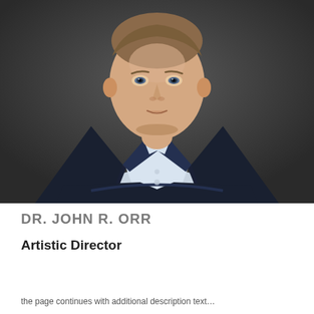[Figure (photo): Professional headshot of a man in a dark navy blazer and light blue checked shirt, arms crossed, photographed against a dark gray background. He appears to be in his 30s-40s with short brown hair.]
DR. JOHN R. ORR
Artistic Director
the page continues below with additional description text